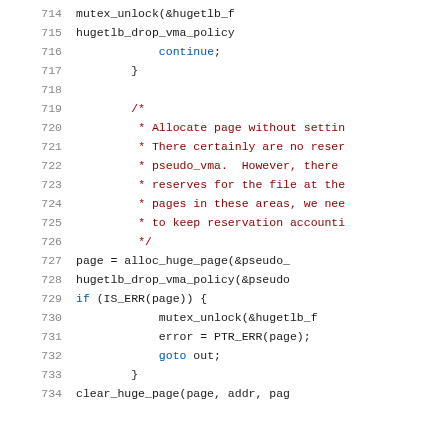[Figure (screenshot): Source code listing lines 714-734 of a Linux kernel C file showing hugetlb page allocation logic with syntax highlighting. Line numbers in gray on left, keywords in blue, comments in dark red, identifiers in black.]